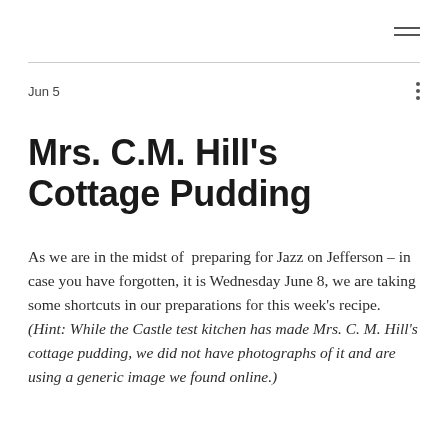≡ (hamburger menu icon)
Jun 5
Mrs. C.M. Hill's Cottage Pudding
As we are in the midst of  preparing for Jazz on Jefferson – in case you have forgotten, it is Wednesday June 8, we are taking some shortcuts in our preparations for this week's recipe. (Hint: While the Castle test kitchen has made Mrs. C. M. Hill's cottage pudding, we did not have photographs of it and are using a generic image we found online.)